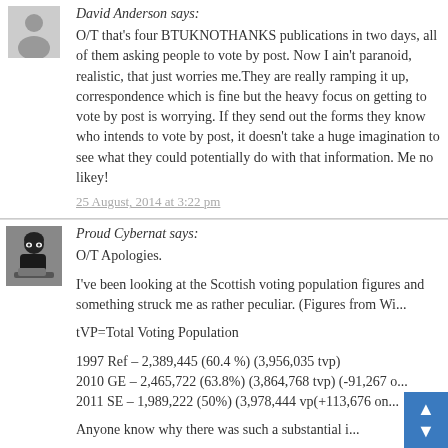David Anderson says:
O/T that's four BTUKNOTHANKS publications in two days, all of them asking people to vote by post. Now I ain't paranoid, realistic, that just worries me.They are really ramping it up, correspondence which is fine but the heavy focus on getting to vote by post is worrying. If they send out the forms they know who intends to vote by post, it doesn't take a huge imagination to see what they could potentially do with that information. Me no likey!
25 August, 2014 at 3:22 pm
Proud Cybernat says:
O/T Apologies.
I've been looking at the Scottish voting population figures and something struck me as rather peculiar. (Figures from Wi...
tVP=Total Voting Population
1997 Ref – 2,389,445 (60.4 %) (3,956,035 tvp)
2010 GE – 2,465,722 (63.8%) (3,864,768 tvp) (-91,267 o...
2011 SE – 1,989,222 (50%) (3,978,444 vp(+113,676 on...
Anyone know why there was such a substantial i...